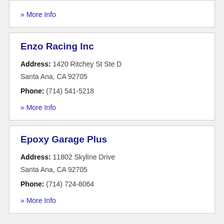» More Info
Enzo Racing Inc
Address: 1420 Ritchey St Ste D Santa Ana, CA 92705
Phone: (714) 541-5218
» More Info
Epoxy Garage Plus
Address: 11802 Skyline Drive Santa Ana, CA 92705
Phone: (714) 724-8064
» More Info